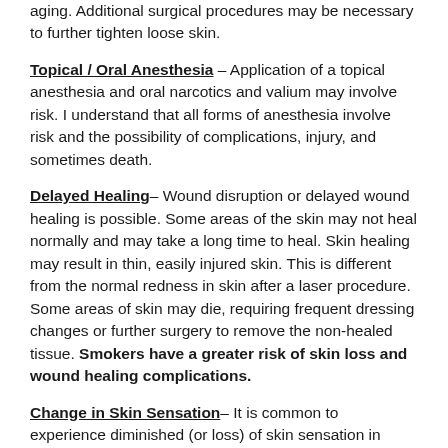aging. Additional surgical procedures may be necessary to further tighten loose skin.
Topical / Oral Anesthesia – Application of a topical anesthesia and oral narcotics and valium may involve risk. I understand that all forms of anesthesia involve risk and the possibility of complications, injury, and sometimes death.
Delayed Healing– Wound disruption or delayed wound healing is possible. Some areas of the skin may not heal normally and may take a long time to heal. Skin healing may result in thin, easily injured skin. This is different from the normal redness in skin after a laser procedure. Some areas of skin may die, requiring frequent dressing changes or further surgery to remove the non-healed tissue. Smokers have a greater risk of skin loss and wound healing complications.
Change in Skin Sensation– It is common to experience diminished (or loss) of skin sensation in areas that have had laser procedures. Diminished (or loss) of skin sensation